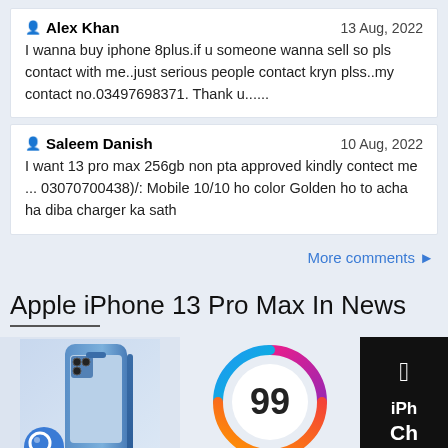Alex Khan  13 Aug, 2022
I wanna buy iphone 8plus.if u someone wanna sell so pls contact with me..just serious people contact kryn plss..my contact no.03497698371. Thank u......
Saleem Danish  10 Aug, 2022
I want 13 pro max 256gb non pta approved kindly contect me ... 03070700438)/: Mobile 10/10 ho color Golden ho to acha ha diba charger ka sath
More comments ▶
Apple iPhone 13 Pro Max In News
[Figure (photo): Three news thumbnails: iPhone 13 Pro Max product photo with a magnifying glass search icon overlay, a circular score badge showing '99', and a dark Apple-branded panel with 'iPh' and 'Ch' text visible.]